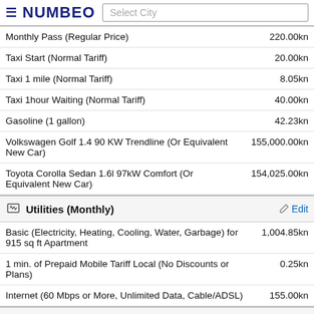NUMBEO — Select City
| Item | Price |
| --- | --- |
| Monthly Pass (Regular Price) | 220.00kn |
| Taxi Start (Normal Tariff) | 20.00kn |
| Taxi 1 mile (Normal Tariff) | 8.05kn |
| Taxi 1hour Waiting (Normal Tariff) | 40.00kn |
| Gasoline (1 gallon) | 42.23kn |
| Volkswagen Golf 1.4 90 KW Trendline (Or Equivalent New Car) | 155,000.00kn |
| Toyota Corolla Sedan 1.6l 97kW Comfort (Or Equivalent New Car) | 154,025.00kn |
Utilities (Monthly)
| Item | Price |
| --- | --- |
| Basic (Electricity, Heating, Cooling, Water, Garbage) for 915 sq ft Apartment | 1,004.85kn |
| 1 min. of Prepaid Mobile Tariff Local (No Discounts or Plans) | 0.25kn |
| Internet (60 Mbps or More, Unlimited Data, Cable/ADSL) | 155.00kn |
Sports And Leisure